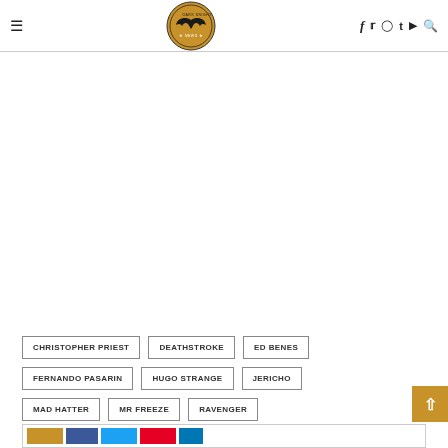Dark Knight News — navigation header with logo and social icons
CHRISTOPHER PRIEST
DEATHSTROKE
ED BENES
FERNANDO PASARIN
HUGO STRANGE
JERICHO
MAD HATTER
MR FREEZE
RAVENGER